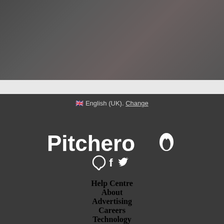[Figure (photo): Dark blurred background photo at top of page]
🇬🇧 English (UK). Change
[Figure (logo): Pitchero logo in white text on dark background with flame icon]
[Figure (other): Social media icons: chat bubble, Facebook f, Twitter bird]
Help Centre
About
Advertising
Careers
Technology
GDPR